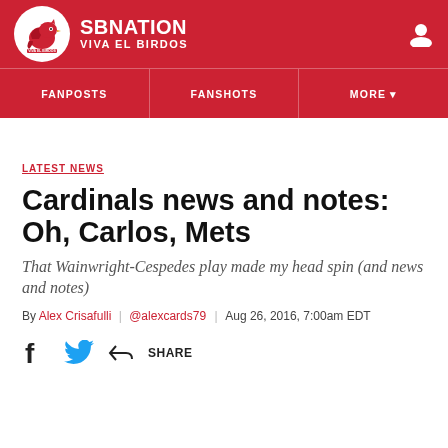SBNATION / VIVA EL BIRDOS
LATEST NEWS
Cardinals news and notes: Oh, Carlos, Mets
That Wainwright-Cespedes play made my head spin (and news and notes)
By Alex Crisafulli | @alexcards79 | Aug 26, 2016, 7:00am EDT